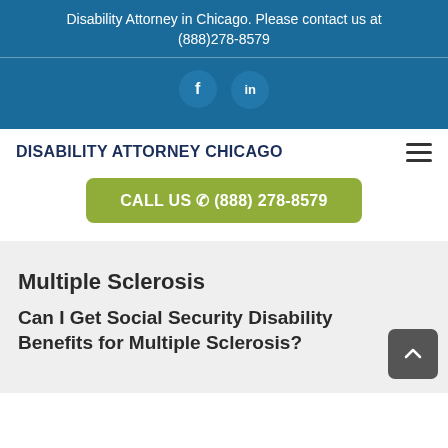Disability Attorney in Chicago. Please contact us at (888)278-8579
[Figure (other): Social media icons for Facebook and LinkedIn on a blue background]
DISABILITY ATTORNEY CHICAGO
CALL US (888) 278-8579
Multiple Sclerosis
Can I Get Social Security Disability Benefits for Multiple Sclerosis?